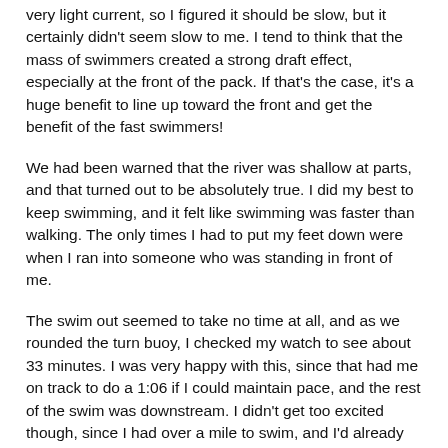very light current, so I figured it should be slow, but it certainly didn't seem slow to me. I tend to think that the mass of swimmers created a strong draft effect, especially at the front of the pack. If that's the case, it's a huge benefit to line up toward the front and get the benefit of the fast swimmers!
We had been warned that the river was shallow at parts, and that turned out to be absolutely true. I did my best to keep swimming, and it felt like swimming was faster than walking. The only times I had to put my feet down were when I ran into someone who was standing in front of me.
The swim out seemed to take no time at all, and as we rounded the turn buoy, I checked my watch to see about 33 minutes. I was very happy with this, since that had me on track to do a 1:06 if I could maintain pace, and the rest of the swim was downstream. I didn't get too excited though, since I had over a mile to swim, and I'd already been pushing pretty hard. I didn't want to wear myself out, and I didn't know how much the current would assist us back to the swim finish.